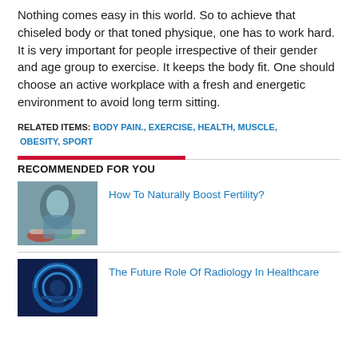Nothing comes easy in this world. So to achieve that chiseled body or that toned physique, one has to work hard. It is very important for people irrespective of their gender and age group to exercise. It keeps the body fit. One should choose an active workplace with a fresh and energetic environment to avoid long term sitting.
RELATED ITEMS: BODY PAIN., EXERCISE, HEALTH, MUSCLE, OBESITY, SPORT
RECOMMENDED FOR YOU
[Figure (photo): A pregnant woman sitting cross-legged with bowls of fruit and vegetables in front of her]
How To Naturally Boost Fertility?
[Figure (photo): A glowing MRI or CT scanner machine in blue tones]
The Future Role Of Radiology In Healthcare